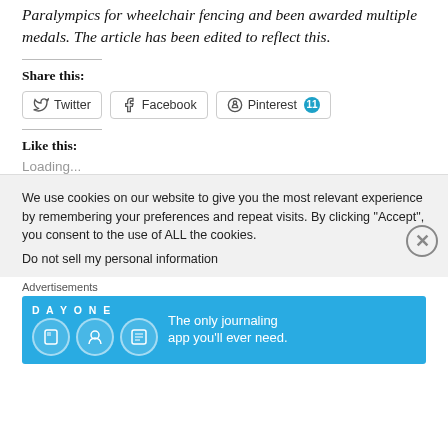Paralympics for wheelchair fencing and been awarded multiple medals. The article has been edited to reflect this.
Share this:
Twitter Facebook Pinterest 11
Like this:
Loading...
We use cookies on our website to give you the most relevant experience by remembering your preferences and repeat visits. By clicking “Accept”, you consent to the use of ALL the cookies.
Do not sell my personal information
Advertisements
[Figure (illustration): Day One journaling app advertisement banner with blue background, app icons, and tagline 'The only journaling app you'll ever need.']